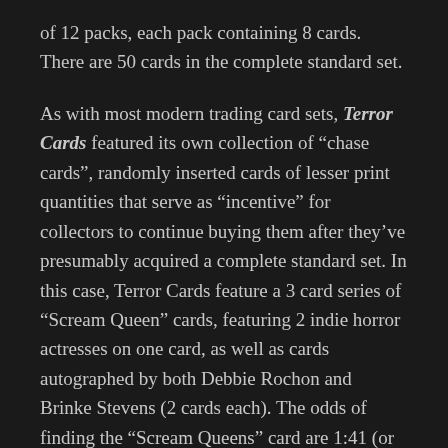of 12 packs, each pack containing 8 cards. There are 50 cards in the complete standard set.
As with most modern trading card sets, Terror Cards featured its own collection of “chase cards”, randomly inserted cards of lesser print quantities that serve as “incentive” for collectors to continue buying them after they’ve presumably acquired a complete standard set. In this case, Terror Cards feature a 3 card series of “Scream Queen” cards, featuring 2 indie horror actresses on one card, as well as cards autographed by both Debbie Rochon and Brinke Stevens (2 cards each). The odds of finding the “Scream Queens” card are 1:41 (or 1 in every 3.5 12-pack box), while autograph cards appear 1:62 (1 in every 5+ boxes). It is reported that 50 of each autograph card were produced, so I’m sure that